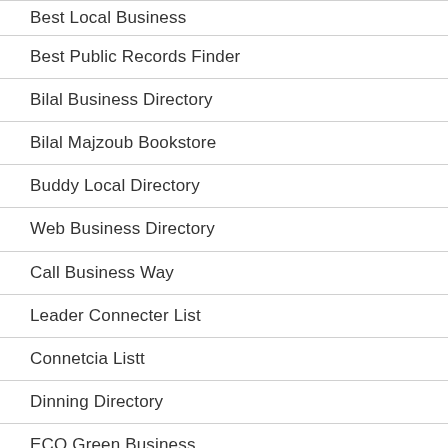Best Local Business
Best Public Records Finder
Bilal Business Directory
Bilal Majzoub Bookstore
Buddy Local Directory
Web Business Directory
Call Business Way
Leader Connecter List
Connetcia Listt
Dinning Directory
ECO Green Business